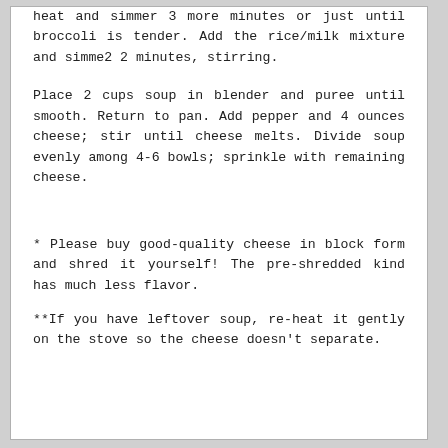heat and simmer 3 more minutes or just until broccoli is tender. Add the rice/milk mixture and simme2 2 minutes, stirring.
Place 2 cups soup in blender and puree until smooth. Return to pan. Add pepper and 4 ounces cheese; stir until cheese melts. Divide soup evenly among 4-6 bowls; sprinkle with remaining cheese.
* Please buy good-quality cheese in block form and shred it yourself! The pre-shredded kind has much less flavor.
**If you have leftover soup, re-heat it gently on the stove so the cheese doesn't separate.